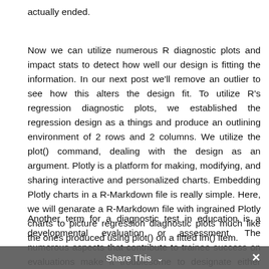actually ended.
Now we can utilize numerous R diagnostic plots and impact stats to detect how well our design is fitting the information. In our next post we'll remove an outlier to see how this alters the design fit. To utilize R's regression diagnostic plots, we established the regression design as a things and produce an outlining environment of 2 rows and 2 columns. We utilize the plot() command, dealing with the design as an argument. Plotly is a platform for making, modifying, and sharing interactive and personalized charts. Embedding Plotly charts in a R-Markdown file is really simple. Here, we will genarate a R-Markdown file with ingrained Plotly charts to picture regression diagnostic plots much like the ones produced using plot() on a fitted lm() item.
Another term for a diagnostic test in education is a developmental evaluation or assessment. The numerous aspects that contribute to trainee success on evaluations make it troublesome to designate either failure or success
Share This